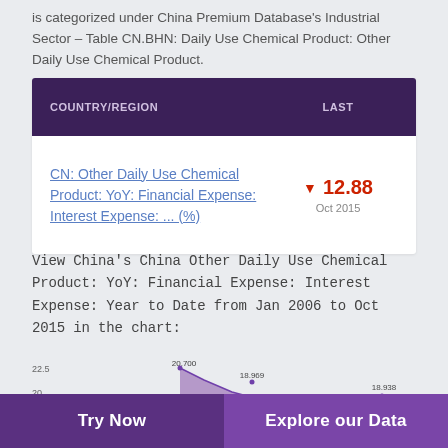is categorized under China Premium Database's Industrial Sector – Table CN.BHN: Daily Use Chemical Product: Other Daily Use Chemical Product.
| COUNTRY/REGION | LAST |
| --- | --- |
| CN: Other Daily Use Chemical Product: YoY: Financial Expense: Interest Expense: ... (%) | ▼ 12.88 Oct 2015 |
View China's China Other Daily Use Chemical Product: YoY: Financial Expense: Interest Expense: Year to Date from Jan 2006 to Oct 2015 in the chart:
[Figure (line-chart): Partial line/area chart visible at bottom, showing values around 18-22.5 range with labeled points 20.700, 18.969, 18.938]
Try Now    Explore our Data